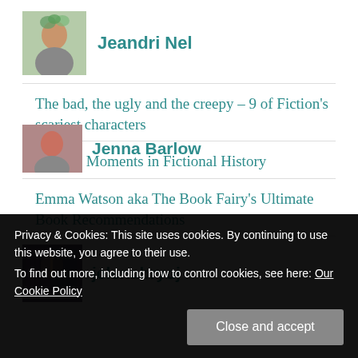[Figure (photo): Author avatar photo of Jeandri Nel – woman outdoors with flowers]
Jeandri Nel
The bad, the ugly and the creepy – 9 of Fiction's scariest characters
Saddest Moments in Fictional History
Emma Watson aka The Book Fairy's Ultimate Book Recommendations
[Figure (photo): Author avatar photo of jelenabryoj – person in front of bookshelves]
jelenabryoj
[Figure (photo): Author avatar photo of Jenna Barlow]
Jenna Barlow
Privacy & Cookies: This site uses cookies. By continuing to use this website, you agree to their use. To find out more, including how to control cookies, see here: Our Cookie Policy
Close and accept